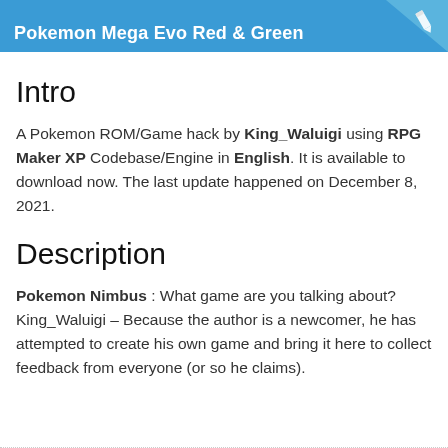Pokemon Mega Evo Red & Green
Intro
A Pokemon ROM/Game hack by King_Waluigi using RPG Maker XP Codebase/Engine in English. It is available to download now. The last update happened on December 8, 2021.
Description
Pokemon Nimbus : What game are you talking about? King_Waluigi – Because the author is a newcomer, he has attempted to create his own game and bring it here to collect feedback from everyone (or so he claims).